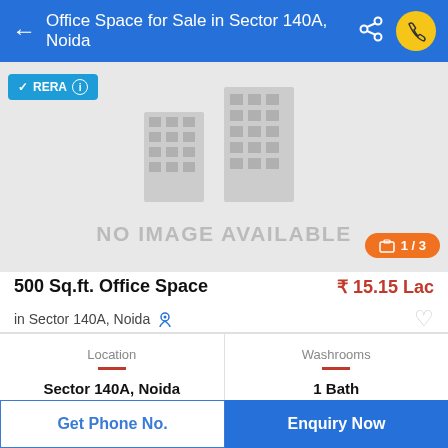Office Space for Sale in Sector 140A, Noida
[Figure (illustration): Placeholder image showing a grey building silhouette with text NO IMAGE AVAILABLE and a 1/3 image counter badge]
500 Sq.ft. Office Space
₹ 15.15 Lac
in Sector 140A, Noida
| Location | Washrooms |
| --- | --- |
| Sector 140A, Noida | 1 Bath |
Get Phone No.
Enquiry Now